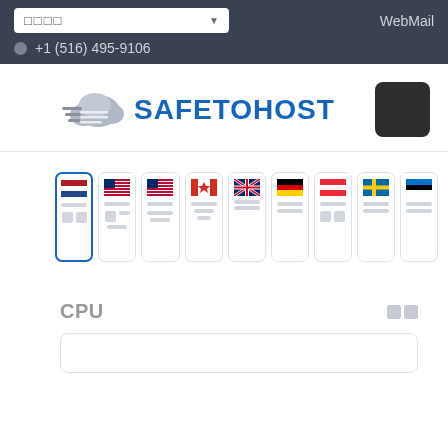□□□□  ▼
+1 (516) 495-9106
WebMail
[Figure (logo): SafeToHost logo with cloud icon and blue text SAFETOHOST]
[Figure (infographic): Row of 9 location selection cards with country flags including Netherlands (selected), USA, USA, Canada, UK, Germany, Austria, Sweden, Estonia]
CPU